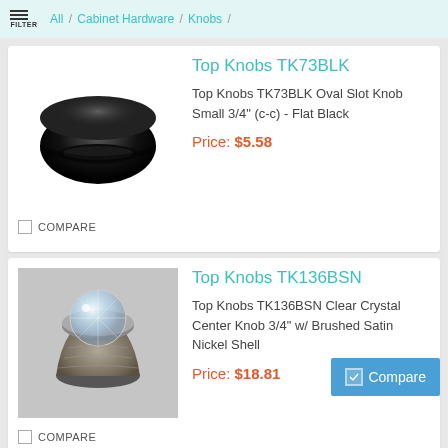All / Cabinet Hardware / Knobs /
Top Knobs TK73BLK
Top Knobs TK73BLK Oval Slot Knob Small 3/4" (c-c) - Flat Black
Price: $5.58
COMPARE
[Figure (photo): Black oval slot cabinet knob (flat black finish)]
Top Knobs TK136BSN
Top Knobs TK136BSN Clear Crystal Center Knob 3/4" w/ Brushed Satin Nickel Shell
Price: $18.81
COMPARE
[Figure (photo): Crystal center cabinet knob with brushed satin nickel shell]